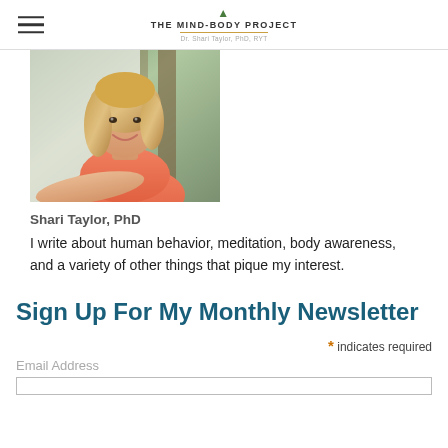THE MIND-BODY PROJECT — Dr. Shari Taylor, PhD, RYT
[Figure (photo): Portrait photo of Shari Taylor, PhD, a woman with blonde hair wearing a coral/pink top, leaning on a surface outdoors near a tree]
Shari Taylor, PhD
I write about human behavior, meditation, body awareness, and a variety of other things that pique my interest.
Sign Up For My Monthly Newsletter
* indicates required
Email Address